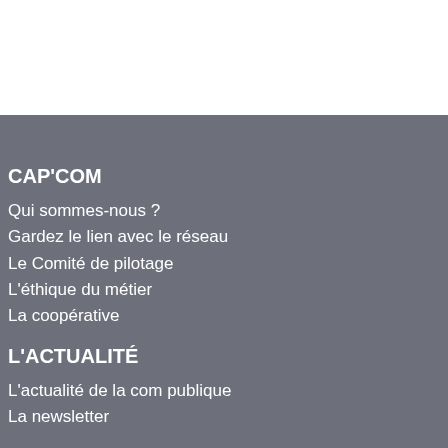CAP'COM
Qui sommes-nous ?
Gardez le lien avec le réseau
Le Comité de pilotage
L'éthique du métier
La coopérative
L'ACTUALITÉ
L'actualité de la com publique
La newsletter